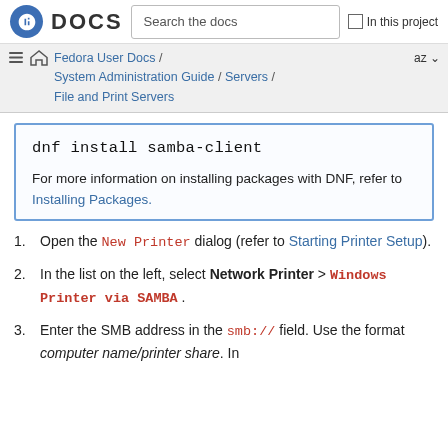DOCS | Search the docs | In this project
Fedora User Docs / System Administration Guide / Servers / File and Print Servers
dnf install samba-client

For more information on installing packages with DNF, refer to Installing Packages.
1. Open the New Printer dialog (refer to Starting Printer Setup).
2. In the list on the left, select Network Printer > Windows Printer via SAMBA.
3. Enter the SMB address in the smb:// field. Use the format computer name/printer share. In